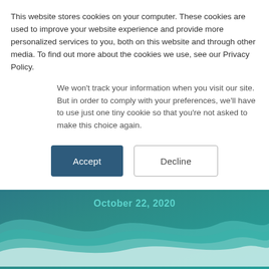This website stores cookies on your computer. These cookies are used to improve your website experience and provide more personalized services to you, both on this website and through other media. To find out more about the cookies we use, see our Privacy Policy.
We won't track your information when you visit our site. But in order to comply with your preferences, we'll have to use just one tiny cookie so that you're not asked to make this choice again.
Accept
Decline
How COVID is affecting student mental health
October 22, 2020